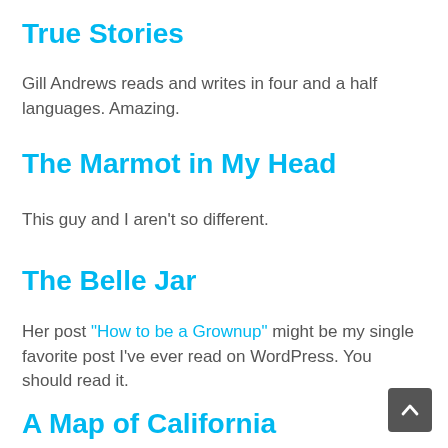True Stories
Gill Andrews reads and writes in four and a half languages. Amazing.
The Marmot in My Head
This guy and I aren't so different.
The Belle Jar
Her post "How to be a Grownup" might be my single favorite post I've ever read on WordPress. You should read it.
A Map of California